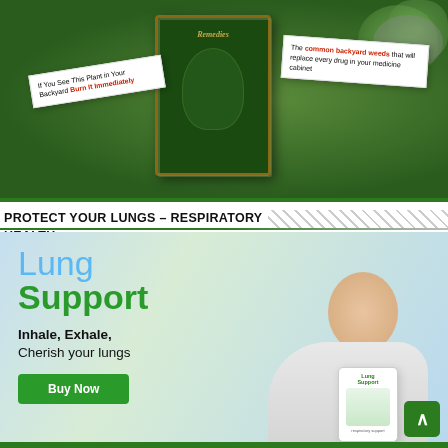[Figure (photo): Advertisement showing a green book titled 'Remedies' with two overlaid labels: left label reads 'If You See This Plant in Your Backyard Burn It Immediately' and right label reads 'The common backyard weeds that will replace every drug in your medicine cabinet']
PROTECT YOUR LUNGS – RESPIRATORY HEALTH
[Figure (photo): Lung Support product advertisement showing a man relaxing and breathing deeply, with text 'Lung Support', 'Inhale, Exhale, Cherish your lungs', a 'Buy Now' button, and a product bottle in the corner]